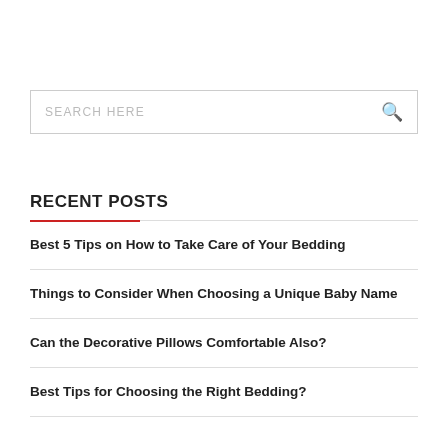SEARCH HERE
RECENT POSTS
Best 5 Tips on How to Take Care of Your Bedding
Things to Consider When Choosing a Unique Baby Name
Can the Decorative Pillows Comfortable Also?
Best Tips for Choosing the Right Bedding?